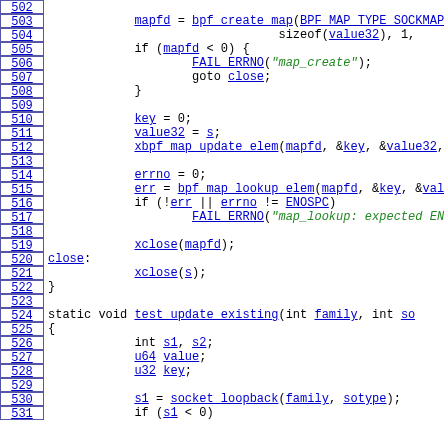[Figure (screenshot): Source code listing lines 502-531, C code for BPF socket map operations, with line numbers on the left and syntax-highlighted code on the right.]